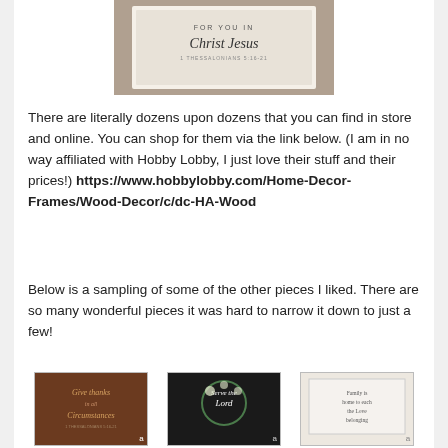[Figure (photo): A framed wood sign with text 'For You In Christ Jesus 1 Thessalonians 5:16-21' displayed in a white wooden frame on a red rug.]
There are literally dozens upon dozens that you can find in store and online. You can shop for them via the link below. (I am in no way affiliated with Hobby Lobby, I just love their stuff and their prices!) https://www.hobbylobby.com/Home-Decor-Frames/Wood-Decor/c/dc-HA-Wood
Below is a sampling of some of the other pieces I liked. There are so many wonderful pieces it was hard to narrow it down to just a few!
[Figure (photo): Thumbnail of a brown wood sign saying 'Give Thanks in All Circumstances' with small product images below.]
[Figure (photo): Thumbnail of a dark sign with floral wreath saying 'Serve the Lord' with small product images below.]
[Figure (photo): Thumbnail of a light wood sign with handwritten script text, with small product images below.]